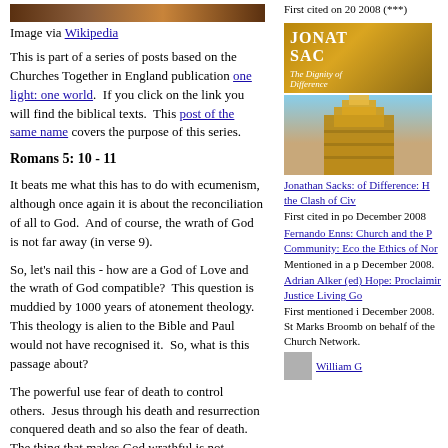Image via Wikipedia
This is part of a series of posts based on the Churches Together in England publication one light: one world.  If you click on the link you will find the biblical texts.  This post of the same name covers the purpose of this series.
Romans 5: 10 - 11
It beats me what this has to do with ecumenism, although once again it is about the reconciliation of all to God.  And of course, the wrath of God is not far away (in verse 9).
So, let's nail this - how are a God of Love and the wrath of God compatible?  This question is muddied by 1000 years of atonement theology.  This theology is alien to the Bible and Paul would not have recognised it.  So, what is this passage about?
The powerful use fear of death to control others.  Jesus through his death and resurrection conquered death and so also the fear of death.  The thing that makes God wrathful is not individual sins but the way in which we all collude with power, out of fear.
When we abandon fear, we no longer depend upon things that distract us from God and so we are reconciled to God.
First cited on 20 2008 (***)
[Figure (illustration): Book cover: Jonathan Sacks - The Dignity of Difference, shown in gold/yellow tones]
[Figure (illustration): Image of Tower of Babel painting]
Jonathan Sacks: of Difference: H the Clash of Civ
First cited in po December 2008
Fernando Enns: Church and the P Community: Eco the Ethics of Nor
Mentioned in a p December 2008.
Adrian Alker (ed) Hope: Proclaimir Justice Living Go
First mentioned i December 2008. St Marks Broomb on behalf of the Church Network.
[Figure (illustration): Small thumbnail image - William G]